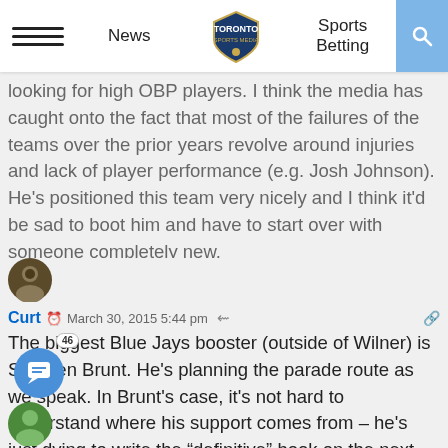News | Toronto Sports Media | Sports Betting
looking for high OBP players. I think the media has caught onto the fact that most of the failures of the teams over the prior years revolve around injuries and lack of player performance (e.g. Josh Johnson). He's positioned this team very nicely and I think it'd be sad to boot him and have to start over with someone completely new.
Curt — March 30, 2015 5:44 pm
The biggest Blue Jays booster (outside of Wilner) is Stephen Brunt. He's planning the parade route as we speak. In Brunt's case, it's not hard to understand where his support comes from – he's just dying to write the “definitive” book on the next Blue Jays World Series run. Bless him.